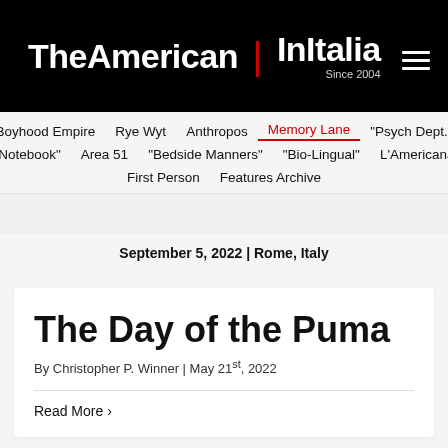TheAmerican | InItalia Since 2004
Boyhood Empire  Rye Wyt  Anthropos  Memory Lane  "Psych Dept."  "Notebook"  Area 51  "Bedside Manners"  "Bio-Lingual"  L'Americana  First Person  Features Archive
September 5, 2022 | Rome, Italy
The Day of the Puma
By Christopher P. Winner | May 21st, 2022
Read More ›